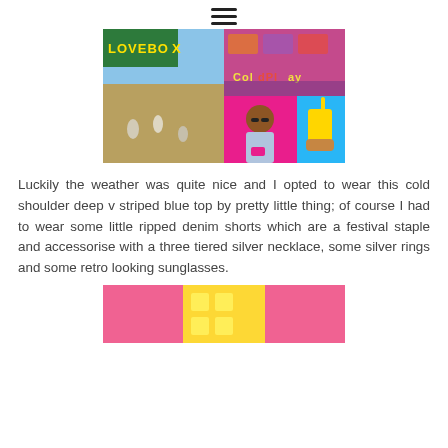≡
[Figure (photo): A collage of festival photos showing the Lovebox festival: outdoor field with people, colorful concert stage, a woman in a striped blue top posing against a pink background wearing sunglasses and holding a pink camera, and a hand holding a drink with a yellow straw.]
Luckily the weather was quite nice and I opted to wear this cold shoulder deep v striped blue top by pretty little thing; of course I had to wear some little ripped denim shorts which are a festival staple and accessorise with a three tiered silver necklace, some silver rings and some retro looking sunglasses.
[Figure (photo): Partial view of another festival photo collage with pink and yellow colors visible at the bottom of the page.]